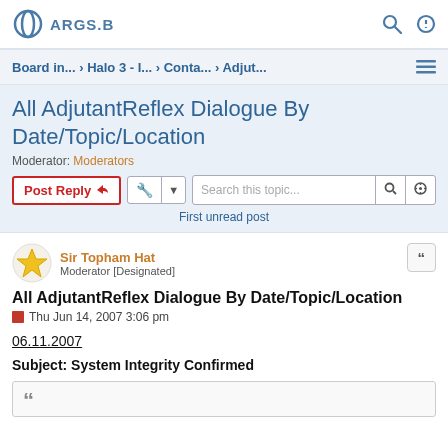ARGS.B
Board in... › Halo 3 - I... › Conta... › Adjut...
All AdjutantReflex Dialogue By Date/Topic/Location
Moderator: Moderators
Post Reply | Search this topic... | First unread post
Sir Topham Hat
Moderator [Designated]
All AdjutantReflex Dialogue By Date/Topic/Location
Thu Jun 14, 2007 3:06 pm
06.11.2007
Subject: System Integrity Confirmed